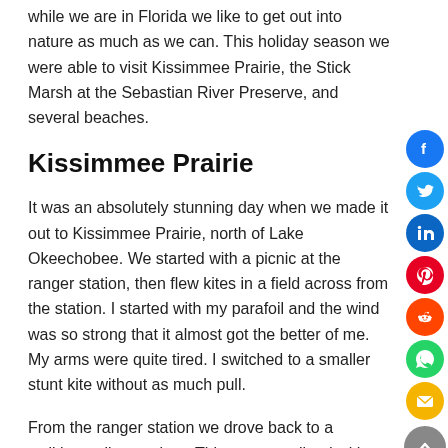While we are in Florida we like to get out into nature as much as we can. This holiday season we were able to visit Kissimmee Prairie, the Stick Marsh at the Sebastian River Preserve, and several beaches.
Kissimmee Prairie
It was an absolutely stunning day when we made it out to Kissimmee Prairie, north of Lake Okeechobee. We started with a picnic at the ranger station, then flew kites in a field across from the station. I started with my parafoil and the wind was so strong that it almost got the better of me. My arms were quite tired. I switched to a smaller stunt kite without as much pull.
From the ranger station we drove back to a walking trail to explore. This area was lined with waterways, and on this particular day these were filled with alligators.